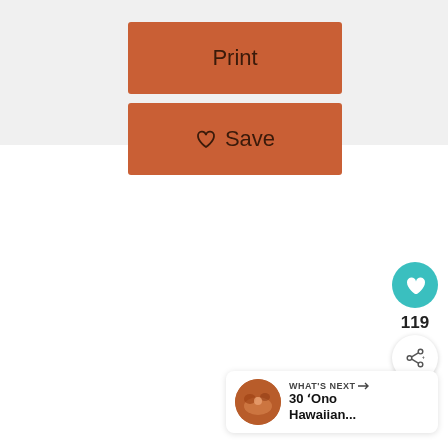[Figure (screenshot): Print button — orange/terracotta rectangular button with the text 'Print' centered]
[Figure (screenshot): Save button — orange/terracotta rectangular button with a heart icon and the text 'Save' centered]
[Figure (screenshot): Floating action button: teal circle with white heart icon]
119
[Figure (screenshot): Floating share button: white circle with share icon]
[Figure (screenshot): What's Next card showing a food photo thumbnail and text '30 'Ono Hawaiian...']